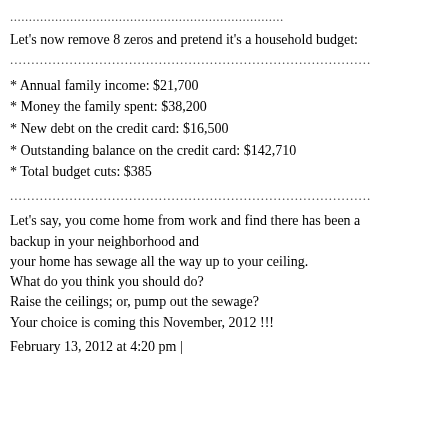......................................................................
Let's now remove 8 zeros and pretend it's a household budget:
..................................................................................
* Annual family income: $21,700
* Money the family spent: $38,200
* New debt on the credit card: $16,500
* Outstanding balance on the credit card: $142,710
* Total budget cuts: $385
..................................................................................
Let's say, you come home from work and find there has been a backup in your neighborhood and your home has sewage all the way up to your ceiling. What do you think you should do? Raise the ceilings; or, pump out the sewage? Your choice is coming this November, 2012 !!!
February 13, 2012 at 4:20 pm |